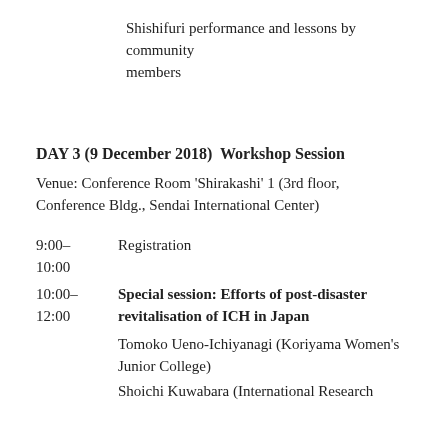Shishifuri performance and lessons by community members
DAY 3 (9 December 2018)  Workshop Session
Venue: Conference Room 'Shirakashi' 1 (3rd floor, Conference Bldg., Sendai International Center)
9:00–10:00	Registration
10:00–12:00	Special session: Efforts of post-disaster revitalisation of ICH in Japan
Tomoko Ueno-Ichiyanagi (Koriyama Women's Junior College)
Shoichi Kuwabara (International Research...